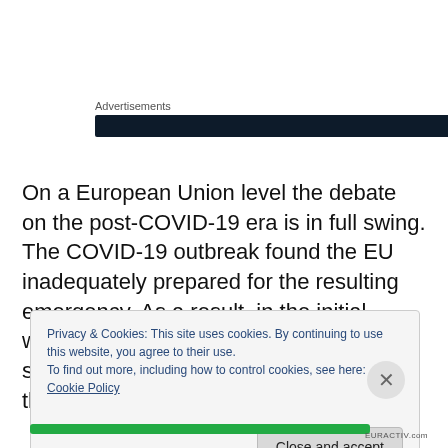Advertisements
[Figure (other): Dark navy advertisement banner]
On a European Union level the debate on the post-COVID-19 era is in full swing. The COVID-19 outbreak found the EU inadequately prepared for the resulting emergency. As a result, in the initial weeks, Italy and Spain were not sufficiently supported and consequently their health services were
Privacy & Cookies: This site uses cookies. By continuing to use this website, you agree to their use.
To find out more, including how to control cookies, see here: Cookie Policy
Close and accept